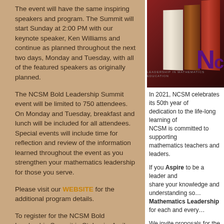The event will have the same inspiring speakers and program. The Summit will start Sunday at 2:00 PM with our keynote speaker, Ken Williams and continue as planned throughout the next two days, Monday and Tuesday, with all of the featured speakers as originally planned.
The NCSM Bold Leadership Summit event will be limited to 750 attendees. On Monday and Tuesday, breakfast and lunch will be included for all attendees. Special events will include time for reflection and review of the information learned throughout the event as you strengthen your mathematics leadership for those you serve.
Please visit our WEBSITE for the additional program details.
To register for the NCSM Bold Leadership Summit in St. Louis, April 25-27, 2021, click HERE.
[Figure (illustration): Books stacked with NCSM logo and text partially visible on right side]
In 2021, NCSM ce... dedication to the li... NCSM is committe... mathematics teach...
If you Aspire to b... share your knowle... understanding so... Mathematics Lea... for each and every...
We invite proposa... NCSM Conference...
Click HERE to ac...